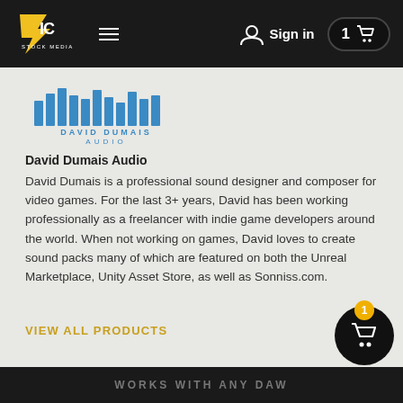Epic Stock Media — Sign in — Cart: 1
[Figure (logo): David Dumais Audio logo with blue equalizer bar graphic and text]
David Dumais Audio
David Dumais is a professional sound designer and composer for video games. For the last 3+ years, David has been working professionally as a freelancer with indie game developers around the world. When not working on games, David loves to create sound packs many of which are featured on both the Unreal Marketplace, Unity Asset Store, as well as Sonniss.com.
VIEW ALL PRODUCTS
WORKS WITH ANY DAW